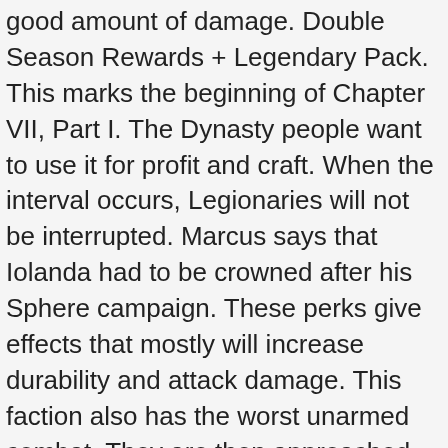good amount of damage. Double Season Rewards + Legendary Pack. This marks the beginning of Chapter VII, Part I. The Dynasty people want to use it for profit and craft. When the interval occurs, Legionaries will not be interrupted. Marcus says that Iolanda had to be crowned after his Sphere campaign. These perks give effects that mostly will increase durability and attack damage. This faction also has the worst unarmed combat. They are then approached by Itu, who informs them that both girls are alive, they are in the throne room surrounded by some Heralds. Trying to Beat Shadow - the Final Boss of Chapter 7 Part 2. Shadow Fight 3 is an action Rocket Propelled Grenade combat game that has been developed by Nekki. ... A military tribe, the Legion, wants to destroy the dangerous energy. Marcus led an army that aimed to destroy the Heralds, the Dome, and the Sphere. The Shadow fight 4 is expected to get some new weapons and